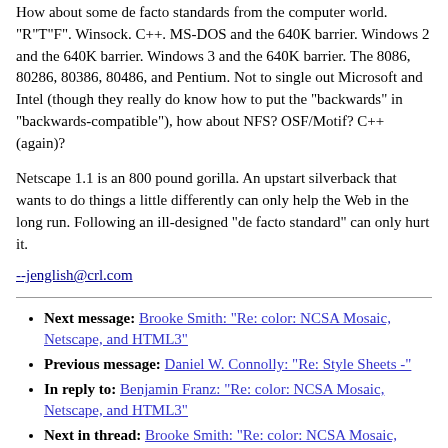How about some de facto standards from the computer world. "R"T"F". Winsock. C++. MS-DOS and the 640K barrier. Windows 2 and the 640K barrier. Windows 3 and the 640K barrier. The 8086, 80286, 80386, 80486, and Pentium. Not to single out Microsoft and Intel (though they really do know how to put the "backwards" in "backwards-compatible"), how about NFS? OSF/Motif? C++ (again)?
Netscape 1.1 is an 800 pound gorilla. An upstart silverback that wants to do things a little differently can only help the Web in the long run. Following an ill-designed "de facto standard" can only hurt it.
--jenglish@crl.com
Next message: Brooke Smith: "Re: color: NCSA Mosaic, Netscape, and HTML3"
Previous message: Daniel W. Connolly: "Re: Style Sheets -"
In reply to: Benjamin Franz: "Re: color: NCSA Mosaic, Netscape, and HTML3"
Next in thread: Brooke Smith: "Re: color: NCSA Mosaic, Netscape, and HTML3"